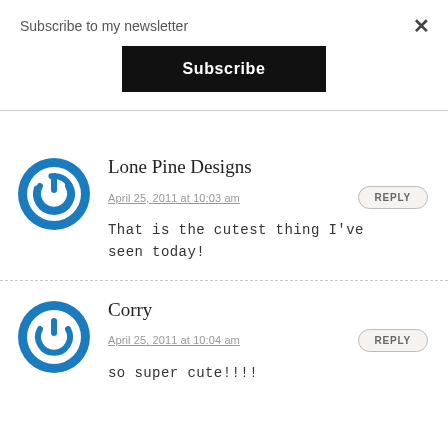Subscribe to my newsletter
Subscribe
×
Lone Pine Designs
April 25, 2011 at 10:03 am
REPLY
That is the cutest thing I've seen today!
Corry
April 25, 2011 at 10:04 am
REPLY
so super cute!!!!